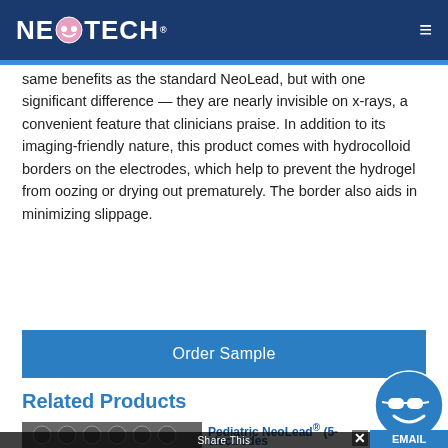NEOTECH
same benefits as the standard NeoLead, but with one significant difference — they are nearly invisible on x-rays, a convenient feature that clinicians praise. In addition to its imaging-friendly nature, this product comes with hydrocolloid borders on the electrodes, which help to prevent the hydrogel from oozing or drying out prematurely. The border also aids in minimizing slippage.
Order Sample
Related Products
[Figure (photo): Circular ECG electrodes with lead wires arranged on a dark surface]
Pediatric NeoLead® (5-electrodes)
Share This